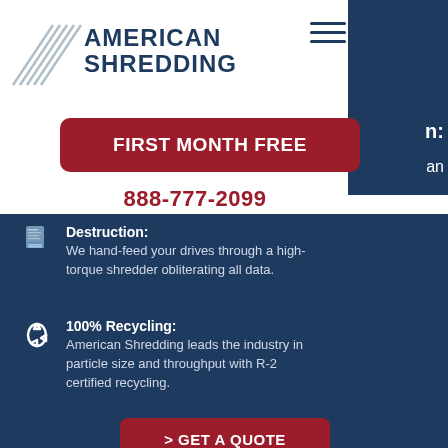[Figure (logo): American Shredding logo with diagonal lines icon and dark blue bold text]
FIRST MONTH FREE
888-777-2099
Destruction: We hand-feed your drives through a high-torque shredder obliterating all data.
100% Recycling: American Shredding leads the industry in particle size and throughput with R-2 certified recycling.
> GET A QUOTE